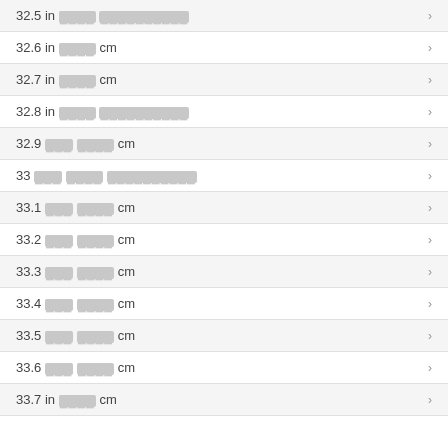32.5 in [redacted] [redacted]
32.6 in [redacted] cm
32.7 in [redacted] cm
32.8 in [redacted] [redacted]
32.9 [redacted] [redacted] cm
33 [redacted] [redacted] [redacted]
33.1 [redacted] [redacted] cm
33.2 [redacted] [redacted] cm
33.3 [redacted] [redacted] cm
33.4 [redacted] [redacted] cm
33.5 [redacted] [redacted] cm
33.6 [redacted] [redacted] cm
33.7 in [redacted] cm